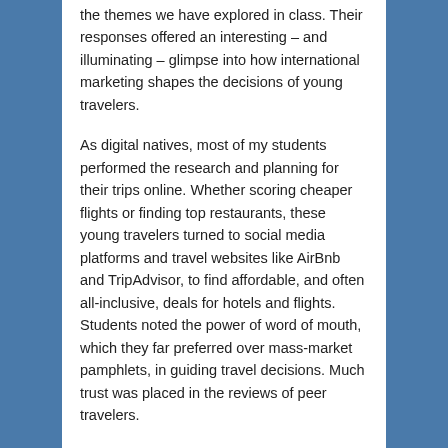the themes we have explored in class. Their responses offered an interesting – and illuminating – glimpse into how international marketing shapes the decisions of young travelers.
As digital natives, most of my students performed the research and planning for their trips online. Whether scoring cheaper flights or finding top restaurants, these young travelers turned to social media platforms and travel websites like AirBnb and TripAdvisor, to find affordable, and often all-inclusive, deals for hotels and flights. Students noted the power of word of mouth, which they far preferred over mass-market pamphlets, in guiding travel decisions. Much trust was placed in the reviews of peer travelers.
Much international travel was to Mexico, the Dominican Republic, and Germany.
But even when my students ventured outside their comfort zones, they still encountered elements of the familiar.